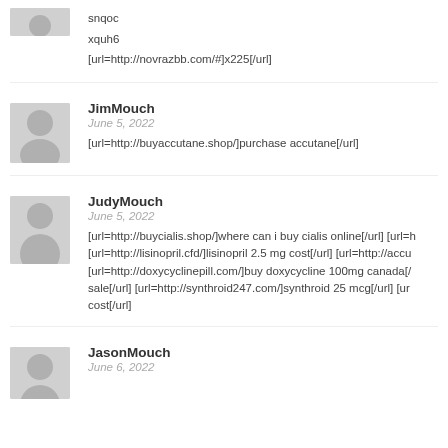[Figure (illustration): Partial user avatar silhouette (grey placeholder) cropped at top]
snqoc

xquh6

[url=http://novrazbb.com/#]x225[/url]
[Figure (illustration): User avatar silhouette (grey placeholder) for JimMouch]
JimMouch
June 5, 2022
[url=http://buyaccutane.shop/]purchase accutane[/url]
[Figure (illustration): User avatar silhouette (grey placeholder) for JudyMouch]
JudyMouch
June 5, 2022
[url=http://buycialis.shop/]where can i buy cialis online[/url] [url=h... [url=http://lisinopril.cfd/]lisinopril 2.5 mg cost[/url] [url=http://accu... [url=http://doxycyclinepill.com/]buy doxycycline 100mg canada[/... sale[/url] [url=http://synthroid247.com/]synthroid 25 mcg[/url] [ur... cost[/url]
[Figure (illustration): User avatar silhouette (grey placeholder) for JasonMouch]
JasonMouch
June 6, 2022